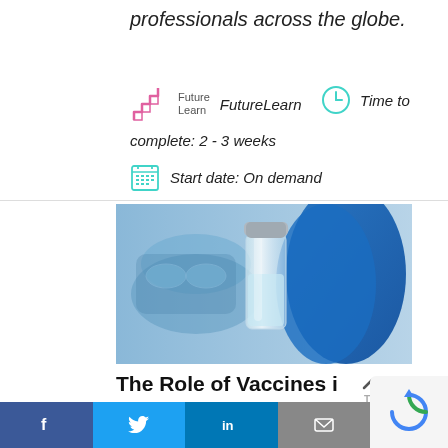professionals across the globe.
[Figure (logo): FutureLearn logo with staircase icon and italic text 'FutureLearn']
Time to complete: 2 - 3 weeks
Start date: On demand
[Figure (photo): A gloved hand in blue latex gloves holding a clear glass medical vial/vaccine bottle, with blurred face wearing mask and goggles in background]
The Role of Vaccines i Preventing Infectious
f  t  in  (email icon)